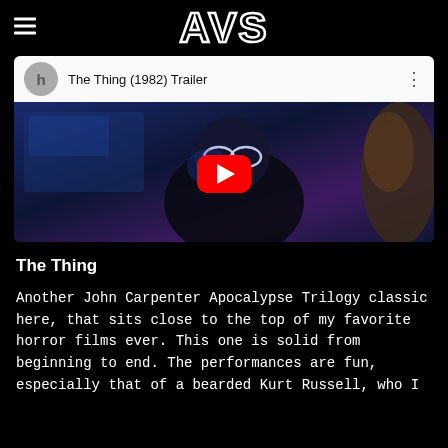[Figure (logo): AVS logo in stylized blocky white outlined letters on black background, with hamburger menu icon on the left]
[Figure (screenshot): YouTube video embed for 'The Thing (1982) Trailer' showing a dark blue-toned scene with a figure in goggles, a red YouTube play button in the center]
The Thing
Another John Carpenter Apocalypse Trilogy classic here, that sits close to the top of my favorite horror films ever. This one is solid from beginning to end. The performances are fun, especially that of a bearded Kurt Russell, who I